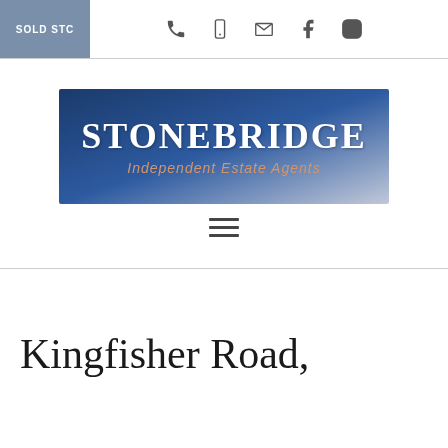SOLD STC
[Figure (logo): Stonebridge Independent Estate Agents logo — blue gradient background with white serif text 'STONEBRIDGE' and orange italic text 'Independent Estate Agents']
Kingfisher Road,